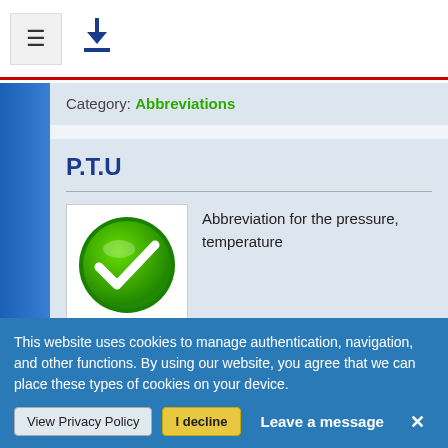☰   ↓
Category: Abbreviations
P.T.U
[Figure (illustration): Green circle with white checkmark icon]
Abbreviation for the pressure, temperature
Category: Meteorology
This website uses cookies to manage authentication, navigation, and other functions. By using our website, you agree that we can place these types of cookies on your device.